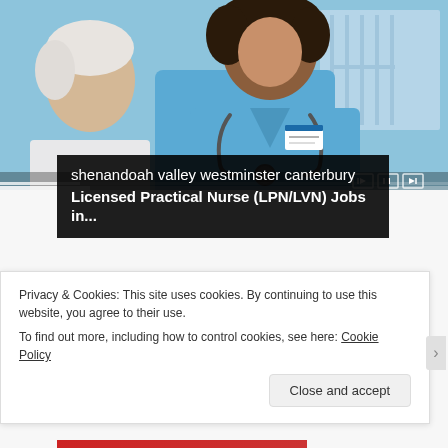[Figure (photo): A smiling nurse in blue scrubs with stethoscope sitting with an elderly patient. Video player controls visible at bottom right of image.]
shenandoah valley westminster canterbury Licensed Practical Nurse (LPN/LVN) Jobs in...
LIKE IT? SHARE IT!
Privacy & Cookies: This site uses cookies. By continuing to use this website, you agree to their use.
To find out more, including how to control cookies, see here: Cookie Policy